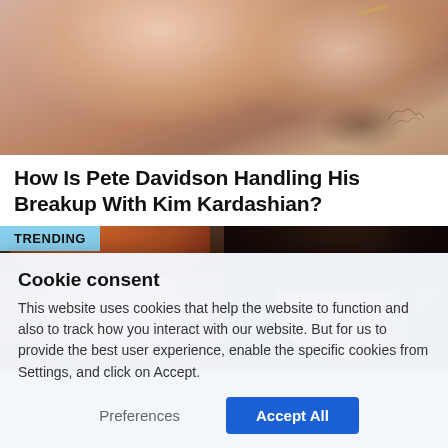[Figure (photo): Close-up photo of person's torso/neck area with tattoo and gold chain necklace visible]
How Is Pete Davidson Handling His Breakup With Kim Kardashian?
[Figure (photo): TRENDING section showing two portrait photos side by side: a young man with reddish-brown hair on the left, and a woman with long dark hair smiling on the right]
Cookie consent
This website uses cookies that help the website to function and also to track how you interact with our website. But for us to provide the best user experience, enable the specific cookies from Settings, and click on Accept.